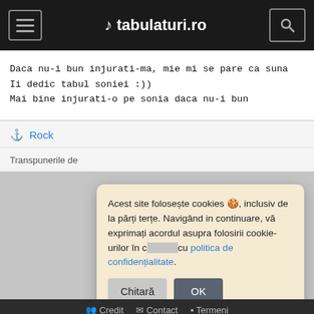♪ tabulaturi.ro
Daca nu-i bun injurati-ma, mie mi se pare ca suna
Ii dedic tabul soniei :))
Mai bine injurati-o pe sonia daca nu-i bun
Rock
Transpunerile de
Acest site folosește cookies 🍪, inclusiv de la părți terțe. Navigând in continuare, vă exprimați acordul asupra folosirii cookie-urilor în c… cu politica de confidențialitate.
Chitară
OK
Credit  Contact  Termeni